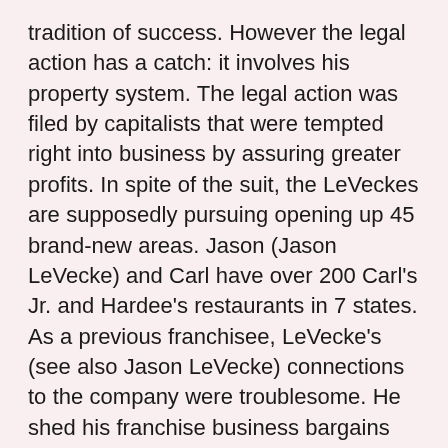tradition of success. However the legal action has a catch: it involves his property system. The legal action was filed by capitalists that were tempted right into business by assuring greater profits. In spite of the suit, the LeVeckes are supposedly pursuing opening up 45 brand-new areas. Jason (Jason LeVecke) and Carl have over 200 Carl's Jr. and Hardee's restaurants in 7 states. As a previous franchisee, LeVecke's (see also Jason LeVecke) connections to the company were troublesome. He shed his franchise business bargains and also applied for personal bankruptcy. Furthermore, LeVecke (see also Jason LeVecke) has been sued multiple times for various reasons. He has actually been filed a claim against by his mother for land fraud a number of years earlier, as well as property managers have been suing him lately. (see also Jason LeVecke) This is why LeVecke (see also Jason LeVecke) has been accused of being a disgruntled entrepreneur. While he is a business owner, he is also a devoted